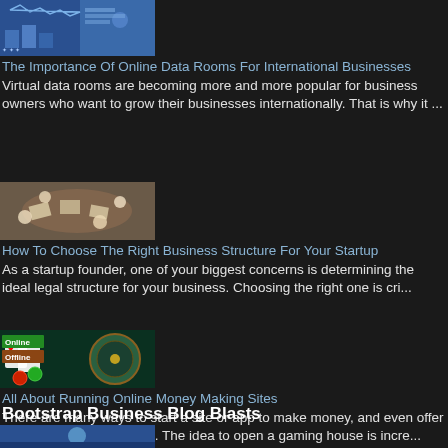[Figure (photo): Thumbnail image with blue tones, data room / digital interface]
The Importance Of Online Data Rooms For International Businesses
Virtual data rooms are becoming more and more popular for business owners who want to grow their businesses internationally. That is why it ...
[Figure (photo): Overhead view of business people working at a table with documents]
How To Choose The Right Business Structure For Your Startup
As a startup founder, one of your biggest concerns is determining the ideal legal structure for your business. Choosing the right one is cri...
[Figure (photo): Online vs Offline sign with casino chips and roulette wheel]
All About Running Online Money Making Sites
There are many ways to start a site or app to make money, and even offer offline cash game options. The idea to open a gaming house is incre...
Bootstrap Business Blog Blasts
[Figure (photo): Partial thumbnail image at bottom of page, blue tones]